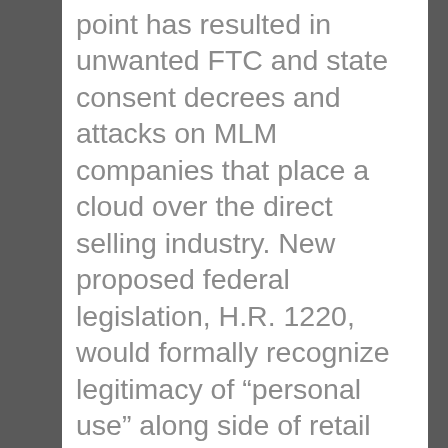point has resulted in unwanted FTC and state consent decrees and attacks on MLM companies that place a cloud over the direct selling industry. New proposed federal legislation, H.R. 1220, would formally recognize legitimacy of “personal use” along side of retail sales outside the network, and bring relief to network marketing.

The issue has arisen in the context of examination as to whether a